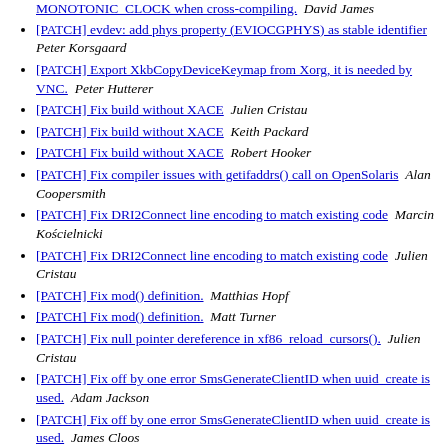[...] ...MONOTONIC_CLOCK when cross-compiling.  David James
[PATCH] evdev: add phys property (EVIOCGPHYS) as stable identifier  Peter Korsgaard
[PATCH] Export XkbCopyDeviceKeymap from Xorg, it is needed by VNC.  Peter Hutterer
[PATCH] Fix build without XACE  Julien Cristau
[PATCH] Fix build without XACE  Keith Packard
[PATCH] Fix build without XACE  Robert Hooker
[PATCH] Fix compiler issues with getifaddrs() call on OpenSolaris  Alan Coopersmith
[PATCH] Fix DRI2Connect line encoding to match existing code  Marcin Kościelnicki
[PATCH] Fix DRI2Connect line encoding to match existing code  Julien Cristau
[PATCH] Fix mod() definition.  Matthias Hopf
[PATCH] Fix mod() definition.  Matt Turner
[PATCH] Fix null pointer dereference in xf86_reload_cursors().  Julien Cristau
[PATCH] Fix off by one error SmsGenerateClientID when uuid_create is used.  Adam Jackson
[PATCH] Fix off by one error SmsGenerateClientID when uuid_create is used.  James Cloos
[PATCH] Fix off by one error SmsGenerateClientID when uuid_create is used.  Alexander Kabaev